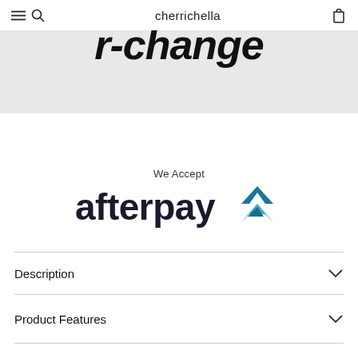cherrichella
[Figure (screenshot): Partially visible banner with large bold italic text reading 'r-change' (bottom portion of a word cut off at top), on a light grey background]
We Accept
[Figure (logo): Afterpay logo: the word 'afterpay' in dark charcoal lowercase font followed by a teal/blue stylized arrow triangle symbol]
Description
Product Features